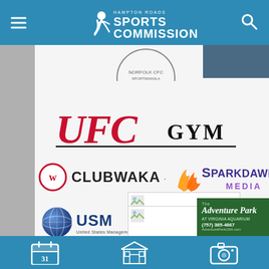[Figure (screenshot): Hampton Roads Sports Commission website screenshot showing sponsor logos page with navigation bar, UFC GYM logo, CLUBWAKA logo, SparkDawn Media logo, USM (United States Management) logo, The Adventure Park logo, and several placeholder image boxes for other sponsors. Bottom navigation bar with calendar, venue, and camera icons.]